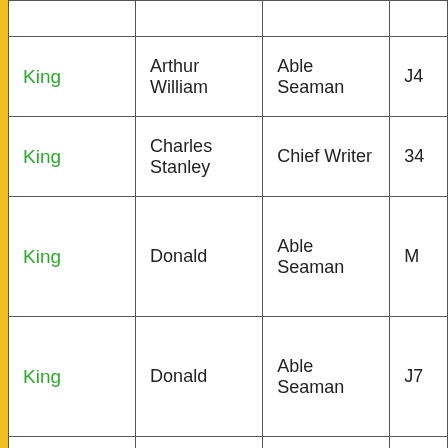| Surname | First Name(s) | Rating/Role | Ref |
| --- | --- | --- | --- |
| King | Arthur William | Able Seaman | J4… |
| King | Charles Stanley | Chief Writer | 34… |
| King | Donald | Able Seaman | M… |
| King | Donald | Able Seaman | J7… |
| King | Ernest Henry | Able Seaman | P… |
| King | Frederick William | Stoker 1st Class | K… |
| King | Henry Alfred | Able Seaman | J1… |